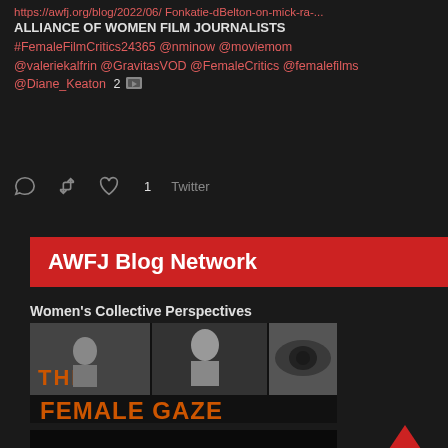https://awfj.org/blog/2022/06/ Fonkatie-dBelton-on-mick-ra-... ALLIANCE OF WOMEN FILM JOURNALISTS #FemaleFilmCritics24365 @nminow @moviemom @valeriekalfrin @GravitasVOD @FemaleCritics @femalefilms @Diane_Keaton  2 [img]
[Figure (screenshot): Twitter action icons: reply, retweet, like with count 1, and Twitter link]
AWFJ Blog Network
Women's Collective Perspectives
[Figure (illustration): The Female Gaze blog banner: black and white photos of women filmmakers with orange text THE FEMALE GAZE]
[Figure (illustration): The Week in Women blog banner: black background with blue and white text THE WEEK IN WOMEN and a woman's face]
[Figure (illustration): Cinema blog banner partially visible at bottom: black background with red text CINEMA]